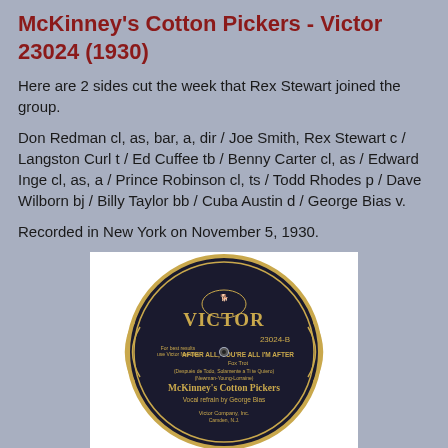McKinney's Cotton Pickers - Victor 23024 (1930)
Here are 2 sides cut the week that Rex Stewart joined the group.
Don Redman cl, as, bar, a, dir / Joe Smith, Rex Stewart c / Langston Curl t / Ed Cuffee tb / Benny Carter cl, as / Edward Inge cl, as, a / Prince Robinson cl, ts / Todd Rhodes p / Dave Wilborn bj / Billy Taylor bb / Cuba Austin d / George Bias v.
Recorded in New York on November 5, 1930.
[Figure (photo): A Victor 78rpm record label, number 23024-B, showing 'After All, You're All I'm After' (Fox Trot) by McKinney's Cotton Pickers with vocal refrain by George Bias. The label is dark navy/black with gold ornate lettering and the Victor logo with the dog and gramophone at the top.]